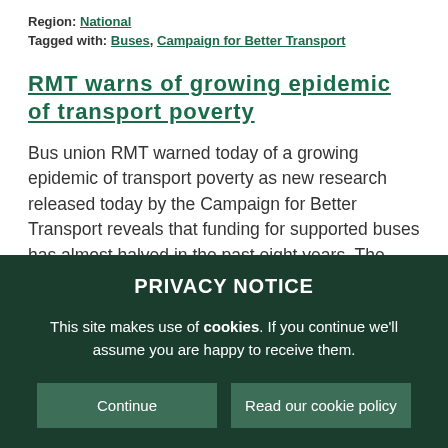Region: National
Tagged with: Buses, Campaign for Better Transport
RMT warns of growing epidemic of transport poverty
Bus union RMT warned today of a growing epidemic of transport poverty as new research released today by the Campaign for Better Transport reveals that funding for supported buses has almost halved in the past eight years. The research shows...
PRIVACY NOTICE
This site makes use of cookies. If you continue we'll assume you are happy to receive them.
Continue
Read our cookie policy